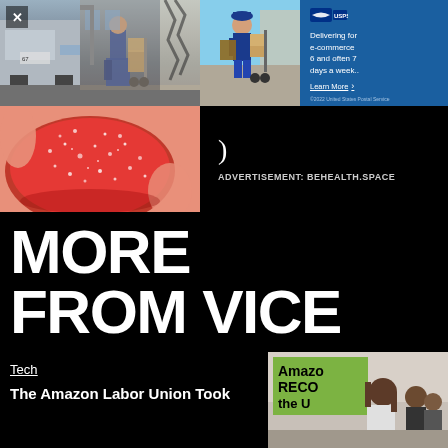[Figure (photo): Postal worker with packages on street near delivery vehicle, with USPS advertisement on right showing blue background with text 'Delivering for e-commerce 6 and often 7 days a week.' and Learn More button]
[Figure (photo): Close-up of red sour candy with sugar crystals on fingertips]
)
ADVERTISEMENT: BEHEALTH.SPACE
MORE FROM VICE
Tech
The Amazon Labor Union Took
[Figure (photo): Protest photo showing Amazon recognition sign and person, partially cropped]